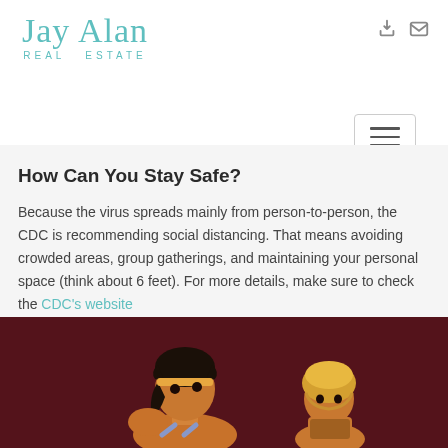[Figure (logo): Jay Alan Real Estate cursive logo in teal/turquoise color with 'REAL ESTATE' subtitle in spaced letters]
[Figure (other): Navigation icons: login arrow and envelope/mail icon in grey, plus hamburger menu button with border]
How Can You Stay Safe?
Because the virus spreads mainly from person-to-person, the CDC is recommending social distancing. That means avoiding crowded areas, group gatherings, and maintaining your personal space (think about 6 feet). For more details, make sure to check the CDC's website
[Figure (illustration): Animated cartoon scene showing two muscular characters, one tall with dark hair and one shorter with a helmet, against a dark reddish-brown background]